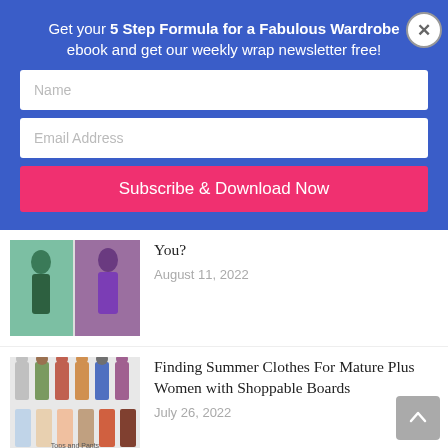Get your 5 Step Formula for a Fabulous Wardrobe ebook and get our weekly wrap newsletter free!
Name
Email Address
Subscribe & Download Now
You?
August 11, 2022
[Figure (photo): Two photos of women in casual outfits outdoors]
Finding Summer Clothes For Mature Plus Women with Shoppable Boards
July 26, 2022
[Figure (photo): Group of plus size women in summer outfits, labeled Plus Size Summer Of Mature Wardrobe]
Your Ultimate Flat Shoe Wardrobe and Where to Find Those Elusive Perfect Shoes
[Figure (photo): Collage of flat shoes with text Your Ultimate Flat Shoe Wardrobe]